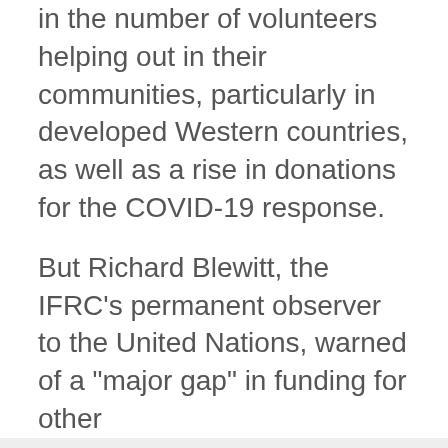in the number of volunteers helping out in their communities, particularly in developed Western countries, as well as a rise in donations for the COVID-19 response.
But Richard Blewitt, the IFRC's permanent observer to the United Nations, warned of a "major gap" in funding for other
We use cookies
We use cookies and other tracking technologies to improve your browsing experience on our website, to show you personalized content and targeted ads, to analyze our website traffic, and to understand where our visitors are coming from.